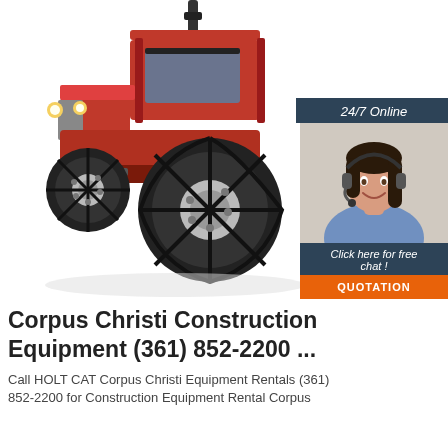[Figure (photo): Red agricultural/construction tractor on white background, photographed at an angle showing front and side. Large black tires visible.]
[Figure (infographic): 24/7 Online chat widget with dark blue header reading '24/7 Online', photo of smiling woman with headset, text 'Click here for free chat!' and orange button labeled 'QUOTATION']
Corpus Christi Construction Equipment (361) 852-2200 ...
Call HOLT CAT Corpus Christi Equipment Rentals (361) 852-2200 for Construction Equipment Rental Corpus